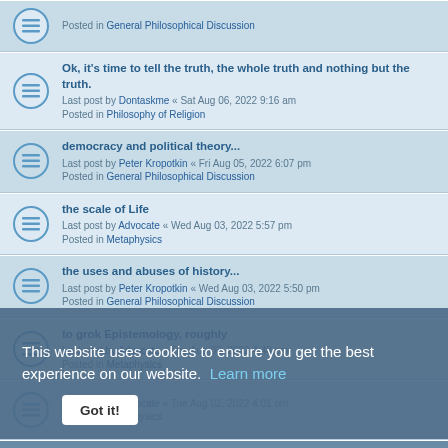Posted in General Philosophical Discussion
Ok, it's time to tell the truth, the whole truth and nothing but the truth.
Last post by Dontaskme « Sat Aug 06, 2022 9:16 am
Posted in Philosophy of Religion
democracy and political theory...
Last post by Peter Kropotkin « Fri Aug 05, 2022 6:07 pm
Posted in General Philosophical Discussion
the scale of Life
Last post by Advocate « Wed Aug 03, 2022 5:57 pm
Posted in Metaphysics
the uses and abuses of history...
Last post by Peter Kropotkin « Wed Aug 03, 2022 5:50 pm
Posted in General Philosophical Discussion
to grok Epistemology, roughly
Last post by Advocate « Tue Aug 02, 2022 4:40 pm
Posted in Metaphysics
Last post by Advocate « Tue Aug 02, 2022 4:01 pm
Posted in Metaphysics
to grok Metaphysics
Last post by Advocate « Tue Aug 02, 2022 3:56 pm
Posted in Metaphysics
The meaningless meaning of life.
Last post by Dontaskme « Tue Aug 02, 2022 6:55 am
Posted in Philosophy of Religion
This website uses cookies to ensure you get the best experience on our website. Learn more
Got it!